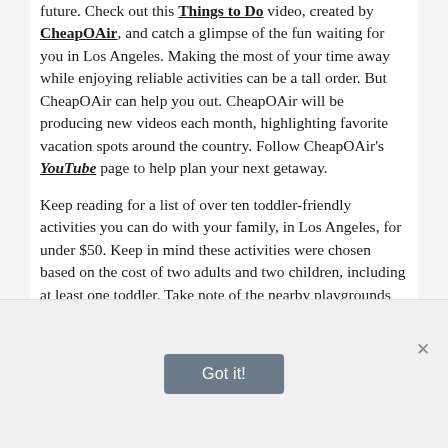future. Check out this Things to Do video, created by CheapOAir, and catch a glimpse of the fun waiting for you in Los Angeles. Making the most of your time away while enjoying reliable activities can be a tall order. But CheapOAir can help you out. CheapOAir will be producing new videos each month, highlighting favorite vacation spots around the country. Follow CheapOAir's YouTube page to help plan your next getaway.
Keep reading for a list of over ten toddler-friendly activities you can do with your family, in Los Angeles, for under $50. Keep in mind these activities were chosen based on the cost of two adults and two children, including at least one toddler. Take note of the nearby playgrounds under each activity, if you are looking for a place to let your children burn off some energy.